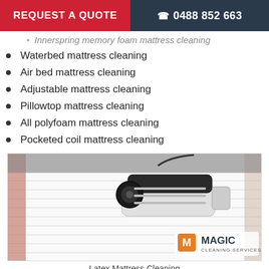REQUEST A QUOTE   0488 852 663
Innerspring memory foam mattress cleaning (partial)
Waterbed mattress cleaning
Air bed mattress cleaning
Adjustable mattress cleaning
Pillowtop mattress cleaning
All polyfoam mattress cleaning
Pocketed coil mattress cleaning
[Figure (photo): A cleaning machine/vacuum on a white mattress surface with horizontal ribbing. Magic Cleaning Services logo in bottom right corner.]
Latex Mattress Cleaning